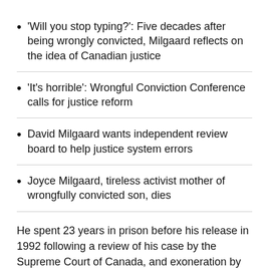'Will you stop typing?': Five decades after being wrongly convicted, Milgaard reflects on the idea of Canadian justice
'It's horrible': Wrongful Conviction Conference calls for justice reform
David Milgaard wants independent review board to help justice system errors
Joyce Milgaard, tireless activist mother of wrongfully convicted son, dies
He spent 23 years in prison before his release in 1992 following a review of his case by the Supreme Court of Canada, and exoneration by DNA evidence in 1997.
'It's the...